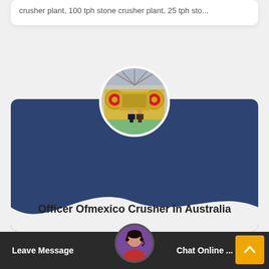crusher plant, 100 tph stone crusher plant, 25 tph sto...
[Figure (photo): Circular cropped photo of a large industrial jaw crusher machine in a factory/warehouse setting, with two people standing in front of it. The machine is yellow with red circular components.]
Officer Ofmexico Crusher In Australia
Sale Officer Ofmexico Crusher In India belgianpres... tph used stone crusher ... in india price sale officer ... in in... mobile Chat Online ...
[Figure (photo): Circular avatar of a customer service representative (woman with headset) used for the chat widget at the bottom of the page.]